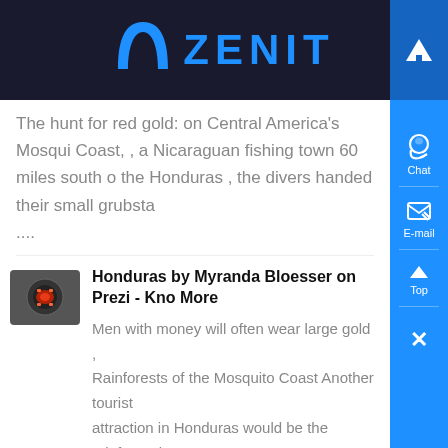ZENIT
The hunt for red gold: on Central America's Mosquito Coast, , a Nicaraguan fishing town 60 miles south of the Honduras , the divers handed their small grubsta....
Honduras by Myranda Bloesser on Prezi - Know More
Men with money will often wear large gold , Rainforests of the Mosquito Coast Another tourist attraction in Honduras would be the rainforest in Mosquito Coast...
Lost City of Legend Found on Mosquito Coast | Guardian , - Know More